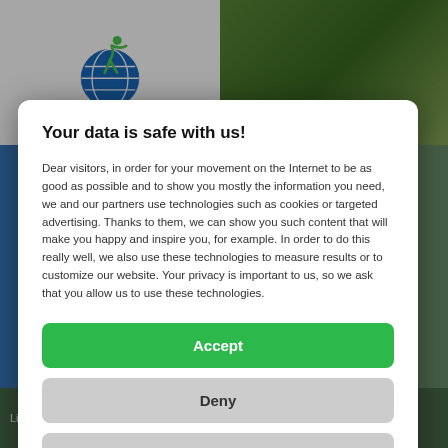[Figure (logo): Green globe logo with stylized person figure on white background, top-left of page]
Your data is safe with us!
Dear visitors, in order for your movement on the Internet to be as good as possible and to show you mostly the information you need, we and our partners use technologies such as cookies or targeted advertising. Thanks to them, we can show you such content that will make you happy and inspire you, for example. In order to do this really well, we also use these technologies to measure results or to customize our website. Your privacy is important to us, so we ask that you allow us to use these technologies.
Accept
Deny
Set